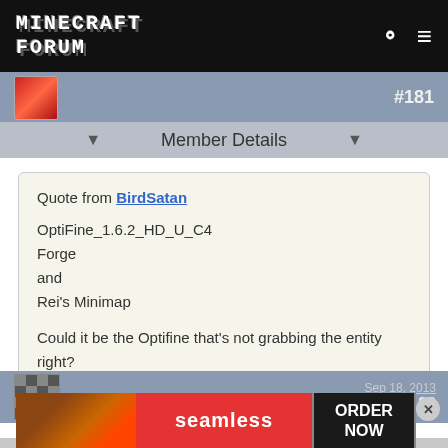MINECRAFT FORUM
#181
Member Details
Quote from BirdSatan

OptiFine_1.6.2_HD_U_C4
Forge
and
Rei's Minimap

Could it be the Optifine that's not grabbing the entity right?
Nah shouldnt matter. Ill test it with optifine.
MCFUser6842572  Sep 18, 2013  #182
[Figure (screenshot): Seamless pizza delivery advertisement banner with ORDER NOW button]